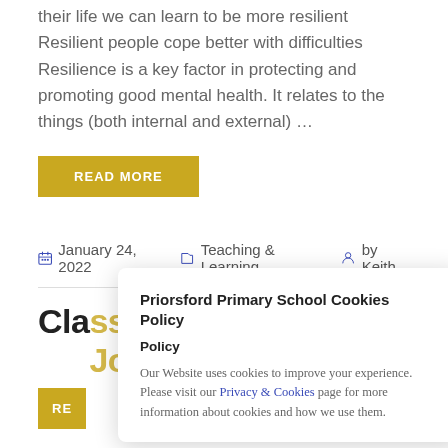their life we can learn to be more resilient Resilient people cope better with difficulties Resilience is a key factor in protecting and promoting good mental health. It relates to the things (both internal and external) …
READ MORE
January 24, 2022   Teaching & Learning   by Keith
Class Learner Journeys
RE
Priorsford Primary School Cookies Policy
Our Website uses cookies to improve your experience. Please visit our Privacy & Cookies page for more information about cookies and how we use them.